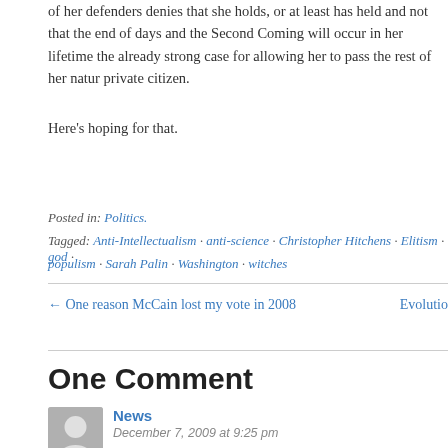of her defenders denies that she holds, or at least has held and not that the end of days and the Second Coming will occur in her lifetime the already strong case for allowing her to pass the rest of her natur private citizen.
Here's hoping for that.
Posted in: Politics.
Tagged: Anti-Intellectualism · anti-science · Christopher Hitchens · Elitism · god · populism · Sarah Palin · Washington · witches
← One reason McCain lost my vote in 2008
Evolutio
One Comment
News
December 7, 2009 at 9:25 pm
Unbelievable! Sarah Palin left Hawaii because there were too many Asians there and it unforortable! http://www.huffingtonpost.com/2009/12/06/palins-father-she-left-ha_n_381